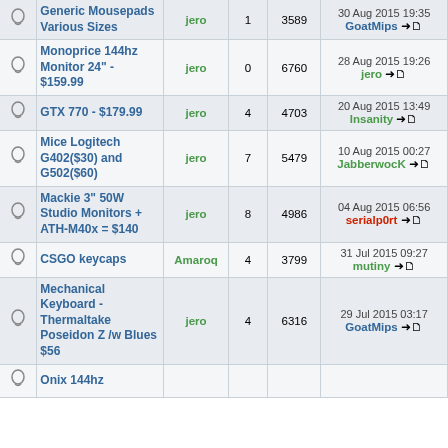|  | Topic | Author | Replies | Views | Last Post |
| --- | --- | --- | --- | --- | --- |
|  | Generic Mousepads Various Sizes | jero | 1 | 3589 | 30 Aug 2015 19:35 GoatMips |
|  | Monoprice 144hz Monitor 24" - $159.99 | jero | 0 | 6760 | 28 Aug 2015 19:26 jero |
|  | GTX 770 - $179.99 | jero | 4 | 4703 | 20 Aug 2015 13:49 Insanity |
|  | Mice Logitech G402($30) and G502($60) | jero | 7 | 5479 | 10 Aug 2015 00:27 JabberwocK |
|  | Mackie 3" 50W Studio Monitors + ATH-M40x = $140 | jero | 8 | 4986 | 04 Aug 2015 06:56 serialp0rt |
|  | CSGO keycaps | Amaroq | 4 | 3799 | 31 Jul 2015 09:27 mutiny |
|  | Mechanical Keyboard - Thermaltake Poseidon Z /w Blues $56 | jero | 4 | 6316 | 29 Jul 2015 03:17 GoatMips |
|  | Onix 144hz |  |  |  |  |